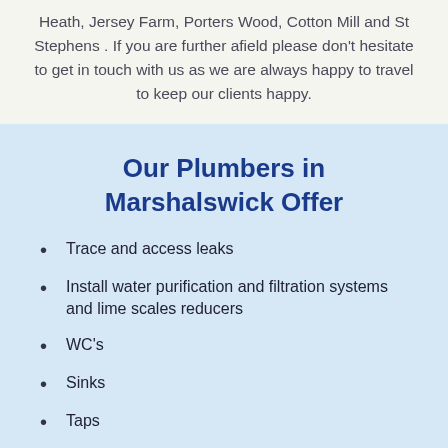Heath, Jersey Farm, Porters Wood, Cotton Mill and St Stephens . If you are further afield please don't hesitate to get in touch with us as we are always happy to travel to keep our clients happy.
Our Plumbers in Marshalswick Offer
Trace and access leaks
Install water purification and filtration systems and lime scales reducers
WC's
Sinks
Taps